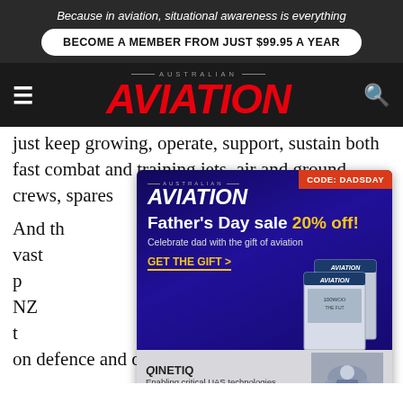Because in aviation, situational awareness is everything
BECOME A MEMBER FROM JUST $99.95 A YEAR
[Figure (logo): Australian Aviation magazine logo with red italic AVIATION text]
just keep growing, operate, support, sustain both fast combat and training jets, air and ground crews, spares ...
[Figure (infographic): Australian Aviation Father's Day sale 20% off advertisement with code DADSDAY, celebrate dad with the gift of aviation, GET THE GIFT >. QinetiQ Enabling critical UAS technologies banner below.]
And the ... ics is a vast ... the most p... fence, in NZ ... al have t... stly differing opinions on defence and defence spending.